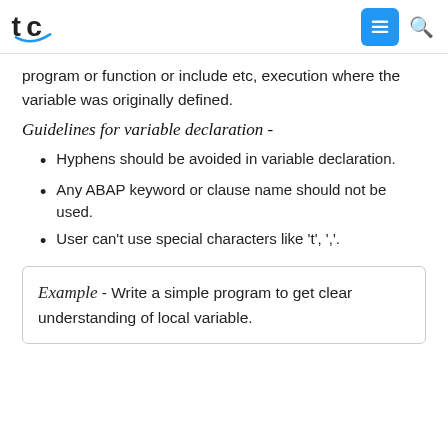tc logo, menu button, search icon
program or function or include etc, execution where the variable was originally defined.
Guidelines for variable declaration -
Hyphens should be avoided in variable declaration.
Any ABAP keyword or clause name should not be used.
User can't use special characters like 't', ','.
Example - Write a simple program to get clear understanding of local variable.